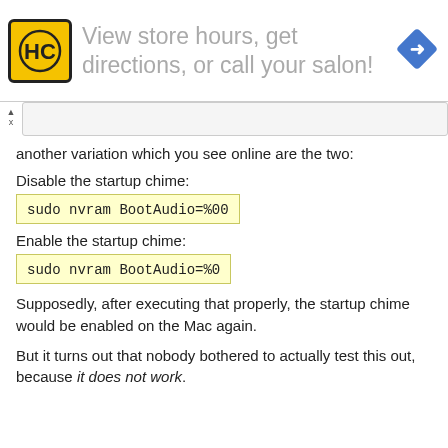[Figure (logo): HC logo in yellow square with black border, and navigation arrow icon on right side of advertisement banner]
View store hours, get directions, or call your salon!
another variation which you see online are the two:
Disable the startup chime:
sudo nvram BootAudio=%00
Enable the startup chime:
sudo nvram BootAudio=%0
Supposedly, after executing that properly, the startup chime would be enabled on the Mac again.
But it turns out that nobody bothered to actually test this out, because it does not work.